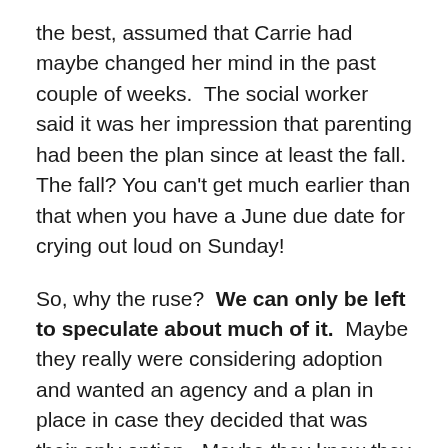the best, assumed that Carrie had maybe changed her mind in the past couple of weeks.  The social worker said it was her impression that parenting had been the plan since at least the fall.  The fall? You can't get much earlier than that when you have a June due date for crying out loud on Sunday!
So, why the ruse?  We can only be left to speculate about much of it.  Maybe they really were considering adoption and wanted an agency and a plan in place in case they decided that was their only option.  Maybe they knew they would need a paternity test and it costs a TON of money and an adoption agency would very likely pay for it.  They were still pushing hard for the paternity test through their social worker even today, and as you know the hubs and I majorly advocated to get it for them before the birth.  It was the right thing to do, you know the